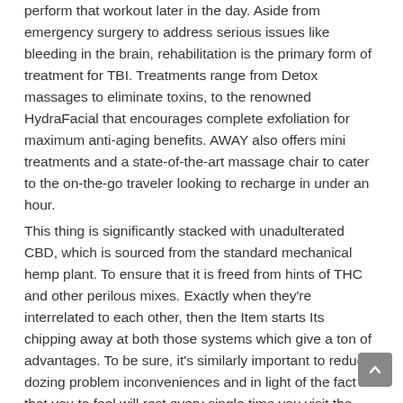perform that workout later in the day. Aside from emergency surgery to address serious issues like bleeding in the brain, rehabilitation is the primary form of treatment for TBI. Treatments range from Detox massages to eliminate toxins, to the renowned HydraFacial that encourages complete exfoliation for maximum anti-aging benefits. AWAY also offers mini treatments and a state-of-the-art massage chair to cater to the on-the-go traveler looking to recharge in under an hour.
This thing is significantly stacked with unadulterated CBD, which is sourced from the standard mechanical hemp plant. To ensure that it is freed from hints of THC and other perilous mixes. Exactly when they're interrelated to each other, then the Item starts Its chipping away at both those systems which give a ton of advantages. To be sure, it's similarly important to reduce dozing problem inconveniences and in light of the fact that you to feel will rest every single time you visit the bed. Other than that, giving you a sound human body, mind, and soul could be the